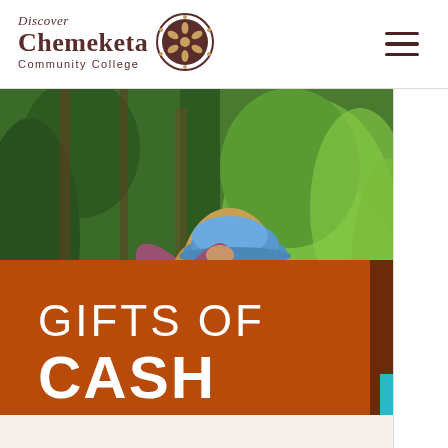Discover Chemeketa Community College
[Figure (photo): Person wearing a blue hard hat and purple shirt facing away from the camera, standing in a lush green forest environment]
GIFTS OF CASH